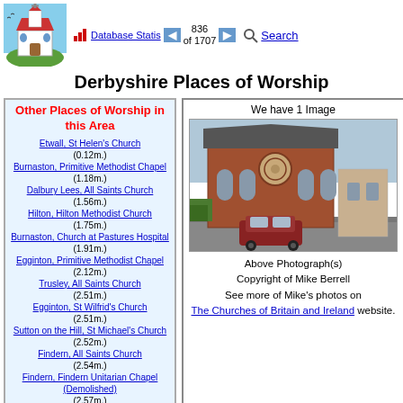[Figure (logo): Illustration of a white church with red roof and cross, surrounded by blue sky and green ground]
Database Statistics | 836 of 1707 | Search
Derbyshire Places of Worship
Other Places of Worship in this Area
Etwall, St Helen's Church (0.12m.)
Burnaston, Primitive Methodist Chapel (1.18m.)
Dalbury Lees, All Saints Church (1.56m.)
Hilton, Hilton Methodist Church (1.75m.)
Burnaston, Church at Pastures Hospital (1.91m.)
Egginton, Primitive Methodist Chapel (2.12m.)
Trusley, All Saints Church (2.51m.)
Egginton, St Wilfrid's Church (2.51m.)
Sutton on the Hill, St Michael's Church (2.52m.)
Findern, All Saints Church (2.54m.)
Findern, Findern Unitarian Chapel (Demolished) (2.57m.)
Mickleover, Wesleyan Methodist Chapel
[Figure (photo): Photograph of a red brick Methodist chapel with gothic arched windows and a rose window, with a car parked outside]
Above Photograph(s) Copyright of Mike Berrell See more of Mike's photos on The Churches of Britain and Ireland website.